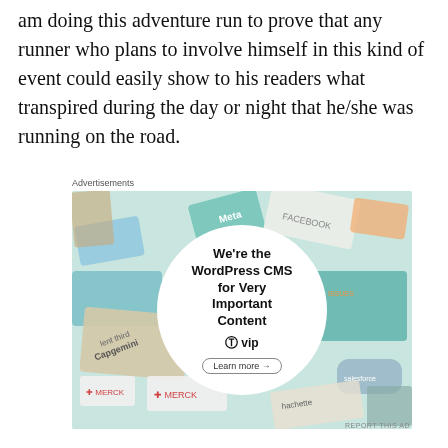am doing this adventure run to prove that any runner who plans to involve himself in this kind of event could easily show to his readers what transpired during the day or night that he/she was running on the road.
Advertisements
[Figure (photo): WordPress VIP advertisement showing a circular white logo in the center with text 'We're the WordPress CMS for Very Important Content' and a 'Learn more' button, surrounded by colorful card collage background with logos including Meta, Facebook, Merck, Salesforce, Hachette, Capgemini.]